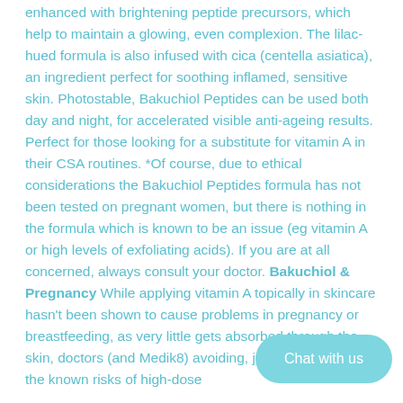enhanced with brightening peptide precursors, which help to maintain a glowing, even complexion. The lilac-hued formula is also infused with cica (centella asiatica), an ingredient perfect for soothing inflamed, sensitive skin. Photostable, Bakuchiol Peptides can be used both day and night, for accelerated visible anti-ageing results. Perfect for those looking for a substitute for vitamin A in their CSA routines. *Of course, due to ethical considerations the Bakuchiol Peptides formula has not been tested on pregnant women, but there is nothing in the formula which is known to be an issue (eg vitamin A or high levels of exfoliating acids). If you are at all concerned, always consult your doctor. Bakuchiol & Pregnancy While applying vitamin A topically in skincare hasn't been shown to cause problems in pregnancy or breastfeeding, as very little gets absorbed through the skin, doctors (and Medik8) avoiding, just in case, due to the known risks of high-dose
[Figure (other): Chat with us button overlay in teal/cyan rounded rectangle style]